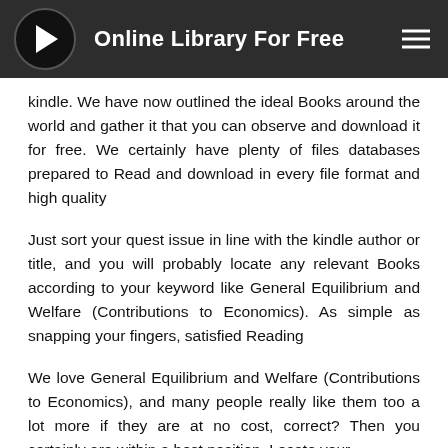Online Library For Free
kindle. We have now outlined the ideal Books around the world and gather it that you can observe and download it for free. We certainly have plenty of files databases prepared to Read and download in every file format and high quality
Just sort your quest issue in line with the kindle author or title, and you will probably locate any relevant Books according to your keyword like General Equilibrium and Welfare (Contributions to Economics). As simple as snapping your fingers, satisfied Reading
We love General Equilibrium and Welfare (Contributions to Economics), and many people really like them too a lot more if they are at no cost, correct? Then you certainly are within a best position. Locate your